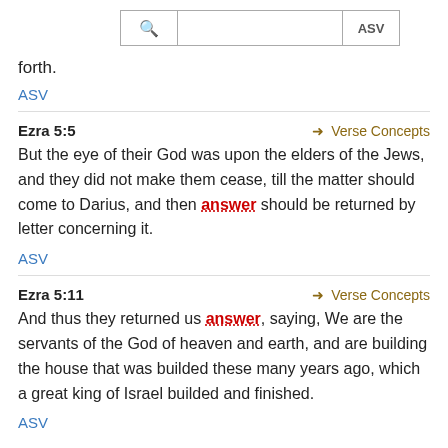Search bar with ASV label
forth.
ASV
Ezra 5:5
→ Verse Concepts
But the eye of their God was upon the elders of the Jews, and they did not make them cease, till the matter should come to Darius, and then answer should be returned by letter concerning it.
ASV
Ezra 5:11
→ Verse Concepts
And thus they returned us answer, saying, We are the servants of the God of heaven and earth, and are building the house that was builded these many years ago, which a great king of Israel builded and finished.
ASV